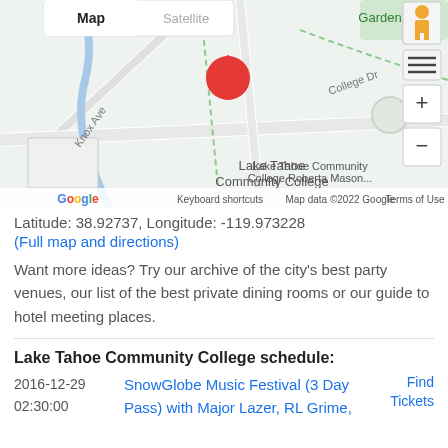[Figure (map): Google Maps view showing Lake Tahoe Community College area with a red location pin, showing Knox Ave, College Dr, Garden area, map/satellite toggle buttons, zoom controls, and pegman icon. Attribution: Map data ©2022 Google, Keyboard shortcuts, Terms of Use]
Latitude: 38.92737, Longitude: -119.973228
(Full map and directions)
Want more ideas? Try our archive of the city's best party venues, our list of the best private dining rooms or our guide to hotel meeting places.
Lake Tahoe Community College schedule:
2016-12-29   SnowGlobe Music Festival (3 Day Pass) with Major Lazer, RL Grime,   Find Tickets
02:30:00